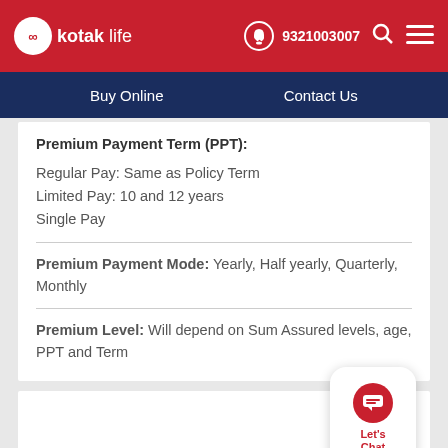kotak life | 9321003007 | Buy Online | Contact Us
Premium Payment Term (PPT):
Regular Pay: Same as Policy Term
Limited Pay: 10 and 12 years
Single Pay
Premium Payment Mode: Yearly, Half yearly, Quarterly, Monthly
Premium Level: Will depend on Sum Assured levels, age, PPT and Term